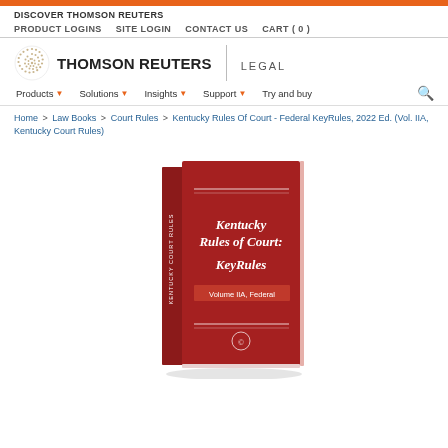DISCOVER THOMSON REUTERS
PRODUCT LOGINS  SITE LOGIN  CONTACT US  CART ( 0 )
[Figure (logo): Thomson Reuters logo with circular dot pattern and text THOMSON REUTERS | LEGAL]
Products  Solutions  Insights  Support  Try and buy
Home > Law Books > Court Rules > Kentucky Rules Of Court - Federal KeyRules, 2022 Ed. (Vol. IIA, Kentucky Court Rules)
[Figure (photo): Book cover of Kentucky Rules of Court: KeyRules, Volume IIA, Federal edition. Dark red/maroon cover with white text.]